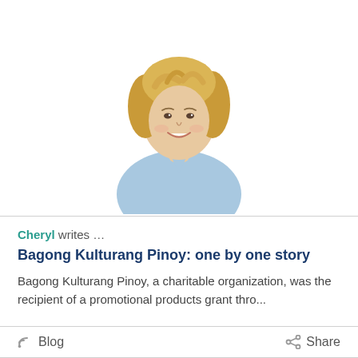[Figure (photo): Portrait photo of a blonde woman wearing a light blue v-neck top, smiling, against a white background]
Cheryl writes …
Bagong Kulturang Pinoy: one by one story
Bagong Kulturang Pinoy, a charitable organization, was the recipient of a promotional products grant thro...
Blog
Share